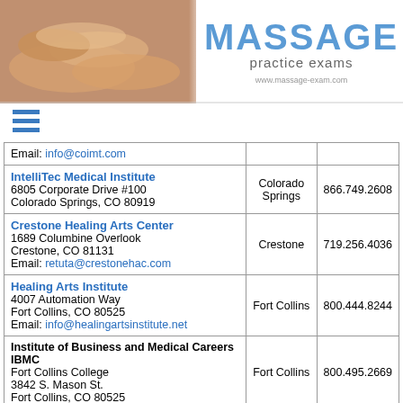[Figure (photo): Massage practice exams website header with massage photo on left and MASSAGE practice exams logo/text on right, with URL www.massage-exam.com]
| Institution / Address | City | Phone |
| --- | --- | --- |
| Email: info@coimt.com |  |  |
| IntelliTec Medical Institute
6805 Corporate Drive #100
Colorado Springs, CO 80919 | Colorado Springs | 866.749.2608 |
| Crestone Healing Arts Center
1689 Columbine Overlook
Crestone, CO 81131
Email: retuta@crestonehac.com | Crestone | 719.256.4036 |
| Healing Arts Institute
4007 Automation Way
Fort Collins, CO 80525
Email: info@healingartsinstitute.net | Fort Collins | 800.444.8244 |
| Institute of Business and Medical Careers IBMC
Fort Collins College
3842 S. Mason St.
Fort Collins, CO 80525 | Fort Collins | 800.495.2669 |
| U.S. Career Institute
2001 Lowe St.
Fort Collins, CO 80525
Email: stusery@uscareerinstitute.com | Fort Collins | 866.250.6851 |